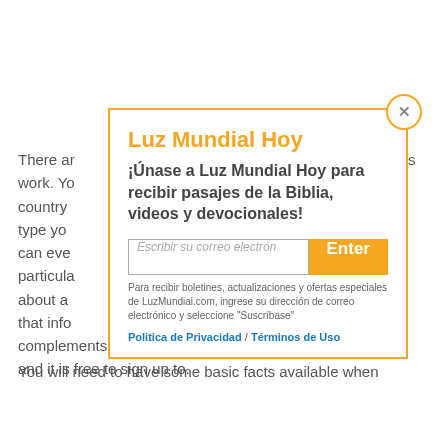There ar… brides work. Yo… need country … et you type yo… , you can eve… with particula… stic about a… / input that info… ou with complements based on the criteria. It is rather easy to use and it is free to sign up to.
[Figure (screenshot): Luz Mundial Hoy modal popup with orange border, title 'Luz Mundial Hoy', subtitle '¡Únase a Luz Mundial Hoy para recibir pasajes de la Biblia, videos y devocionales!', email input field labeled 'Escribir su correo electrón', orange Enter button, helper text, and links to Politica de Privacidad / Términos de Uso. Orange X close button at top right.]
You will need to have some basic facts available when